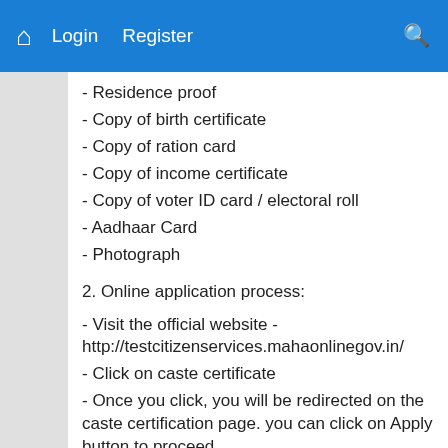Login   Register
- Residence proof
- Copy of birth certificate
- Copy of ration card
- Copy of income certificate
- Copy of voter ID card / electoral roll
- Aadhaar Card
- Photograph
2. Online application process:
- Visit the official website - http://testcitizenservices.mahaonlinegov.in/
- Click on caste certificate
- Once you click, you will be redirected on the caste certification page. you can click on Apply button to proceed.
- Select the required category cast certificate from the dropdown.